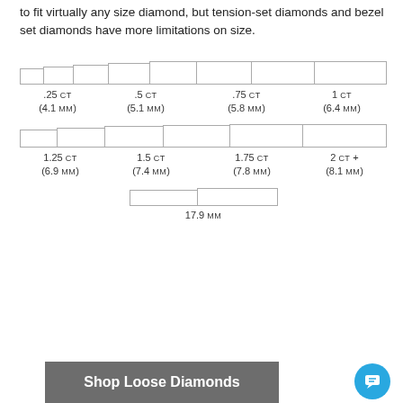to fit virtually any size diamond, but tension-set diamonds and bezel set diamonds have more limitations on size.
[Figure (infographic): Diamond size comparison diagram showing bars/segments of increasing width representing diamond carat weights and millimeter sizes: Row 1: .25 ct (4.1 mm), .5 ct (5.1 mm), .75 ct (5.8 mm), 1 ct (6.4 mm). Row 2: 1.25 ct (6.9 mm), 1.5 ct (7.4 mm), 1.75 ct (7.8 mm), 2 ct+ (8.1 mm). Row 3: 17.9 mm]
Shop Loose Diamonds